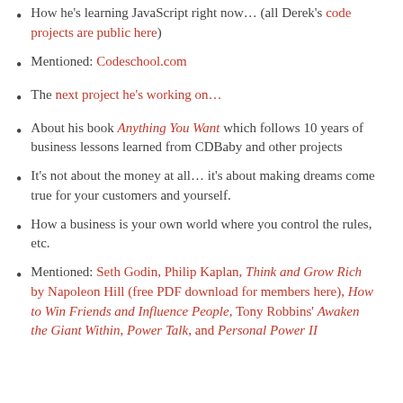How he's learning JavaScript right now… (all Derek's code projects are public here)
Mentioned: Codeschool.com
The next project he's working on…
About his book Anything You Want which follows 10 years of business lessons learned from CDBaby and other projects
It's not about the money at all… it's about making dreams come true for your customers and yourself.
How a business is your own world where you control the rules, etc.
Mentioned: Seth Godin, Philip Kaplan, Think and Grow Rich by Napoleon Hill (free PDF download for members here), How to Win Friends and Influence People, Tony Robbins' Awaken the Giant Within, Power Talk, and Personal Power II